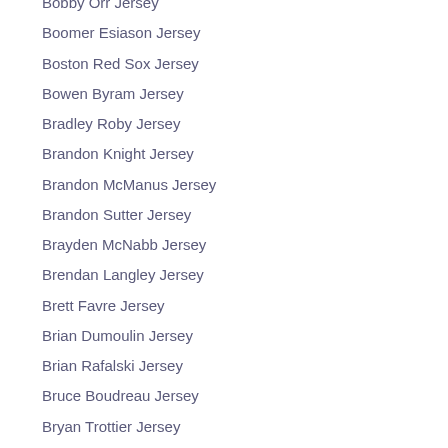Bobby Orr Jersey
Boomer Esiason Jersey
Boston Red Sox Jersey
Bowen Byram Jersey
Bradley Roby Jersey
Brandon Knight Jersey
Brandon McManus Jersey
Brandon Sutter Jersey
Brayden McNabb Jersey
Brendan Langley Jersey
Brett Favre Jersey
Brian Dumoulin Jersey
Brian Rafalski Jersey
Bruce Boudreau Jersey
Bryan Trottier Jersey
Bryn Forbes Jersey
Budda Baker Jersey
Butch Goring Jersey
Cal Milano...